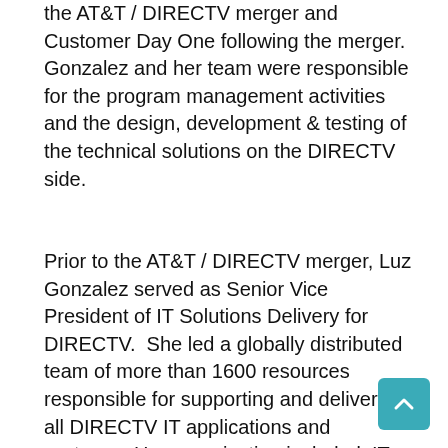the AT&T / DIRECTV merger and Customer Day One following the merger. Gonzalez and her team were responsible for the program management activities and the design, development & testing of the technical solutions on the DIRECTV side.
Prior to the AT&T / DIRECTV merger, Luz Gonzalez served as Senior Vice President of IT Solutions Delivery for DIRECTV. She led a globally distributed team of more than 1600 resources responsible for supporting and delivering all DIRECTV IT applications and systems. Her organization included: IT project management, development, quality assurance, and business analysis. Gonzalez and her team were responsible for delivering initiatives that allowed DIRECTV to transform the customer experience, enhance the entertainment experience, release new products, and create business efficiencies. During her time at DIRECTV she a reputation on her ability to deliver results, build high-